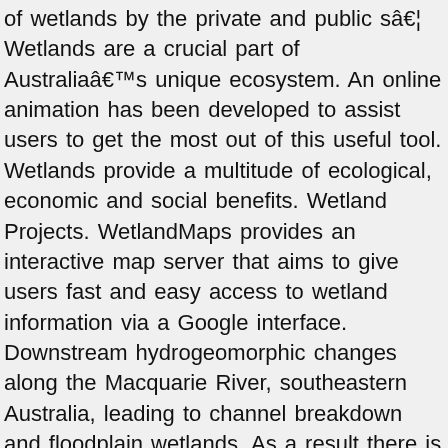of wetlands by the private and public sâ¦ Wetlands are a crucial part of Australiaâs unique ecosystem. An online animation has been developed to assist users to get the most out of this useful tool. Wetlands provide a multitude of ecological, economic and social benefits. Wetland Projects. WetlandMaps provides an interactive map server that aims to give users fast and easy access to wetland information via a Google interface. Downstream hydrogeomorphic changes along the Macquarie River, southeastern Australia, leading to channel breakdown and floodplain wetlands. As a result there is no Site Number 30. In July 2015 WetlandCare Australia merged with Conservation Volunteers Australia, and we continue to deliver projects protecting and restoring wetlands for nature and people. Hunter Wetland Centre Australia is Australiaâs longest-running community owned wetlands centre. Kakadu National Park is a diverse park about half the size of Switzerland located in the Northern Territory of Australia. When you have eliminated the JavaScript, whatever remains must be an empty page. See our